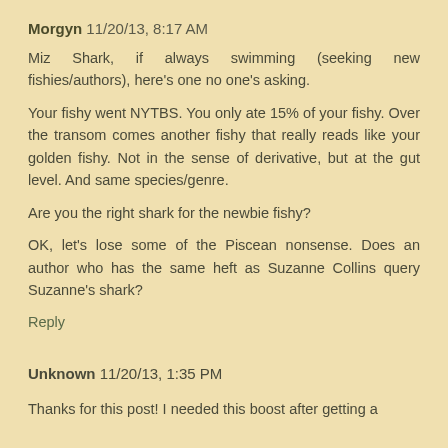Morgyn 11/20/13, 8:17 AM
Miz Shark, if always swimming (seeking new fishies/authors), here's one no one's asking.
Your fishy went NYTBS. You only ate 15% of your fishy. Over the transom comes another fishy that really reads like your golden fishy. Not in the sense of derivative, but at the gut level. And same species/genre.
Are you the right shark for the newbie fishy?
OK, let's lose some of the Piscean nonsense. Does an author who has the same heft as Suzanne Collins query Suzanne's shark?
Reply
Unknown 11/20/13, 1:35 PM
Thanks for this post! I needed this boost after getting a